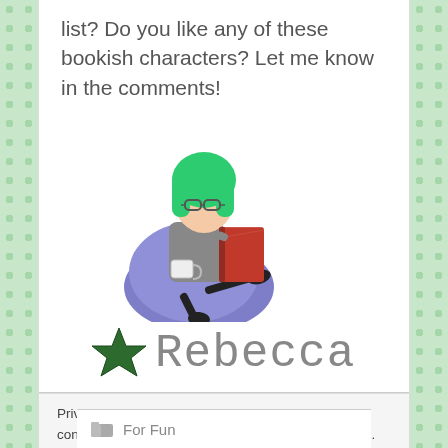list? Do you like any of these bookish characters? Let me know in the comments!
[Figure (illustration): Cartoon avatar of a person with green hair and glasses sitting in a purple bean bag chair, reading a red book and holding a white mug.]
[Figure (logo): Green star icon followed by the name 'Rebecca' in a serif/typewriter style font in gray.]
Privacy & Cookies: This site uses cookies. By continuing to use this website, you agree to their use.
To find out more, including how to control cookies, see here: Cookie Policy
Close and accept
For Fun